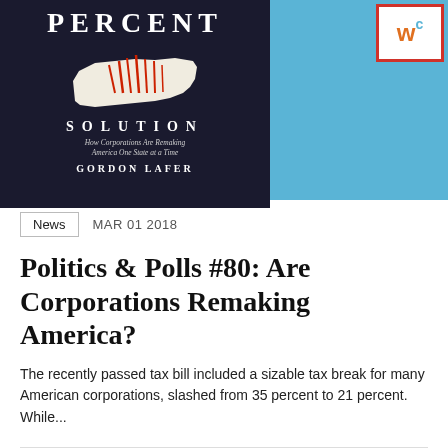[Figure (photo): Book cover: dark background with text 'PERCENT' and 'SOLUTION', subtitle 'How Corporations Are Remaking America One State at a Time', author Gordon Lafer; alongside a light blue image panel with a partial 'w' logo in a red-bordered box]
News  MAR 01 2018
Politics & Polls #80: Are Corporations Remaking America?
The recently passed tax bill included a sizable tax break for many American corporations, slashed from 35 percent to 21 percent. While...
[Figure (photo): Dark/black horizontal banner image at the bottom of the page]